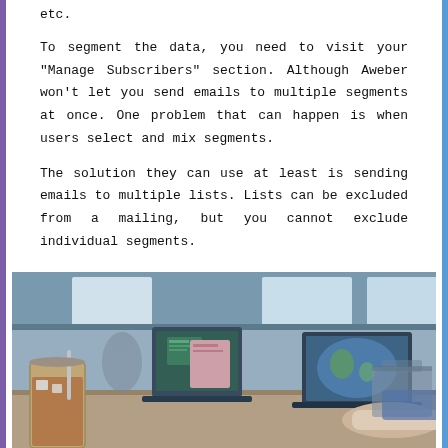etc.
To segment the data, you need to visit your "Manage Subscribers" section. Although Aweber won't let you send emails to multiple segments at once. One problem that can happen is when users select and mix segments.
The solution they can use at least is sending emails to multiple lists. Lists can be excluded from a mailing, but you cannot exclude individual segments.
[Figure (photo): A person working on a laptop in a cafe setting, with an iced coffee drink in the foreground. The cafe has large windows and a blurred background with other patrons.]